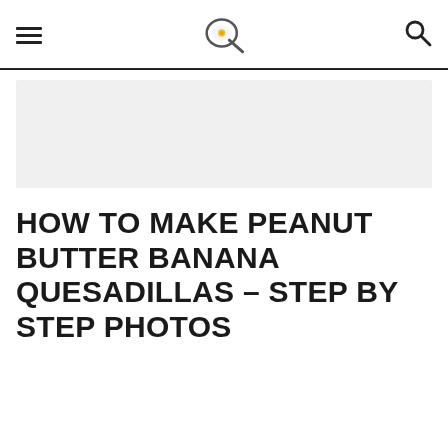[hamburger menu] [logo: frying pan icon] [search icon]
[Figure (other): Gray advertisement banner placeholder rectangle]
HOW TO MAKE PEANUT BUTTER BANANA QUESADILLAS – STEP BY STEP PHOTOS